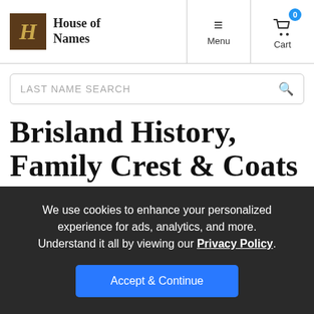House of Names — Menu | Cart
LAST NAME SEARCH
Brisland History, Family Crest & Coats of Arms
Origins Available: Ireland
We use cookies to enhance your personalized experience for ads, analytics, and more. Understand it all by viewing our Privacy Policy.
Accept & Continue